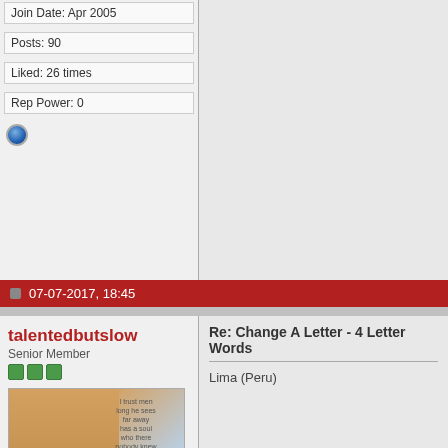Join Date: Apr 2005
Posts: 90
Liked: 26 times
Rep Power: 0
07-07-2017, 18:45
talentedbutslow
Senior Member
[Figure (photo): User avatar image with a person and text overlay saying Tal]
Join Date: Apr 2006
Location: brisbane....australia
Posts: 743
Liked: 20 times
Rep Power: 1331
Re: Change A Letter - 4 Letter Words
Lima (Peru)